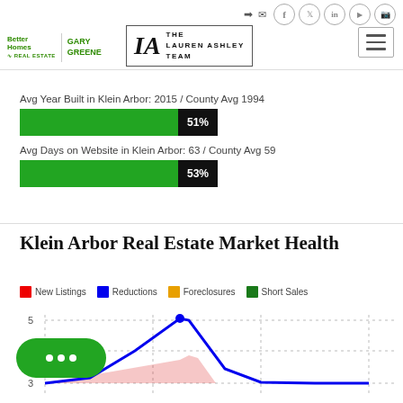[Figure (logo): Better Homes Gary Greene real estate logo and The Lauren Ashley Team logo in header]
Avg Year Built in Klein Arbor: 2015 / County Avg 1994
[Figure (bar-chart): Avg Year Built]
Avg Days on Website in Klein Arbor: 63 / County Avg 59
[Figure (bar-chart): Avg Days on Website]
Klein Arbor Real Estate Market Health
[Figure (line-chart): Line chart showing New Listings (red), Reductions (blue), Foreclosures (orange), Short Sales (green) over time. Y-axis shows values 3 and 5 visible. Blue line peaks near 5.]